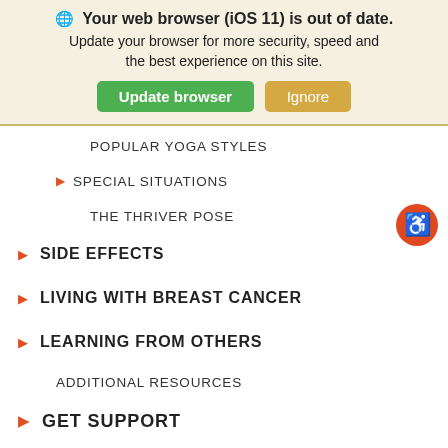🌐 Your web browser (iOS 11) is out of date. Update your browser for more security, speed and the best experience on this site. [Update browser] [Ignore]
POPULAR YOGA STYLES
▶ SPECIAL SITUATIONS
THE THRIVER POSE
▶ SIDE EFFECTS
▶ LIVING WITH BREAST CANCER
▶ LEARNING FROM OTHERS
ADDITIONAL RESOURCES
▶ GET SUPPORT
▶ HOW YOU CAN HELP